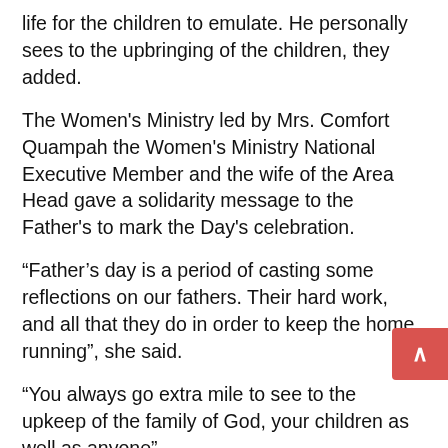life for the children to emulate. He personally sees to the upbringing of the children, they added.
The Women's Ministry led by Mrs. Comfort Quampah the Women's Ministry National Executive Member and the wife of the Area Head gave a solidarity message to the Father's to mark the Day's celebration.
“Father’s day is a period of casting some reflections on our fathers. Their hard work, and all that they do in order to keep the home running”, she said.
“You always go extra mile to see to the upkeep of the family of God, your children as well as anyone”
“On behalf of the women all over the world and in Ho Area,  we say ayekoo”  she concluded.
They took the opportunity to put a request before the men that “despite your busy schedule working very hard to satisfy the needs of the family, it’s a plea for us for you to take some rest out of your  busy schedule and to spend quality time with us and the family” they ended.